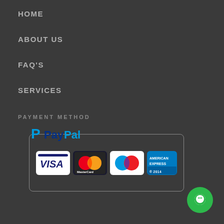HOME
ABOUT US
FAQ'S
SERVICES
PAYMENT METHOD
[Figure (logo): PayPal logo with blue P icon and PayPal text in blue and yellow]
[Figure (infographic): Payment method logos: VISA, MasterCard, Maestro, American Express inside a rounded rectangle border]
[Figure (other): Green circular chat/message button in bottom right corner]